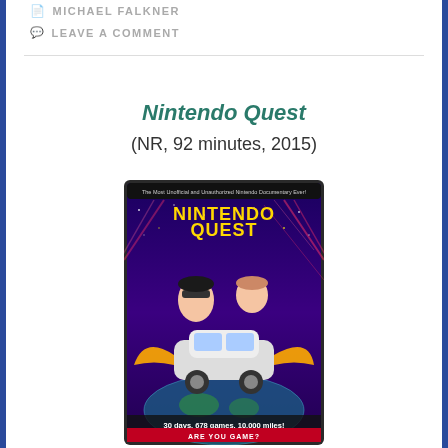MICHAEL FALKNER
LEAVE A COMMENT
Nintendo Quest
(NR, 92 minutes, 2015)
[Figure (illustration): Nintendo Quest movie poster showing two characters in a stylized retro-gaming adventure scene with a winged car, stars, and Earth in the background. Text reads 'Nintendo Quest', '30 days. 678 games. 10,000 miles!', 'Are you game?']